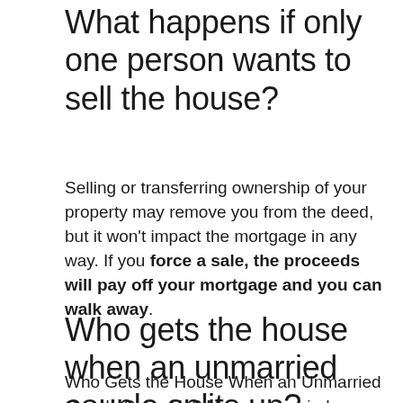What happens if only one person wants to sell the house?
Selling or transferring ownership of your property may remove you from the deed, but it won't impact the mortgage in any way. If you force a sale, the proceeds will pay off your mortgage and you can walk away.
Who gets the house when an unmarried couple splits up?
Who Gets the House When an Unmarried Couple Splits Up? Many unmarried couples